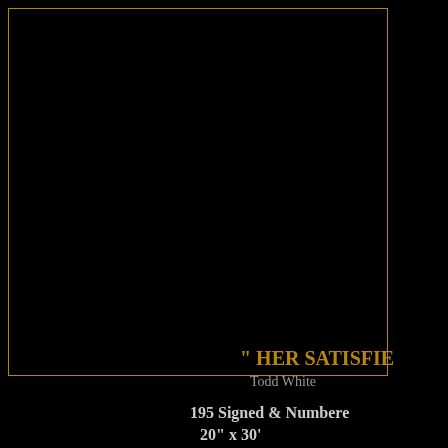[Figure (illustration): Black background with a gold/amber colored rectangular border frame in the upper-left area of the page. The interior is entirely black, suggesting artwork that is cropped out of frame.]
" HER SATISFIE
Todd White
195 Signed & Numbered
20" x 30'